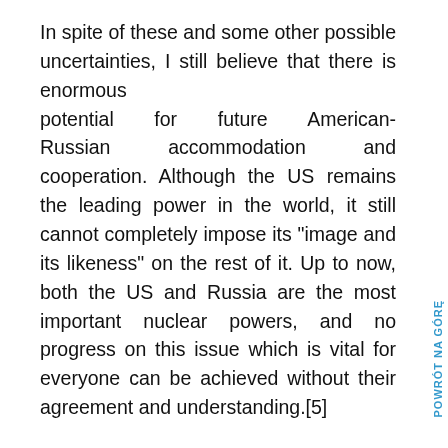In spite of these and some other possible uncertainties, I still believe that there is enormous potential for future American-Russian accommodation and cooperation. Although the US remains the leading power in the world, it still cannot completely impose its "image and its likeness" on the rest of it. Up to now, both the US and Russia are the most important nuclear powers, and no progress on this issue which is vital for everyone can be achieved without their agreement and understanding.[5]

In addition, all its real problems notwithstanding, Russia still remains a great Eurasian power and the largest country in the world: a country which is rich